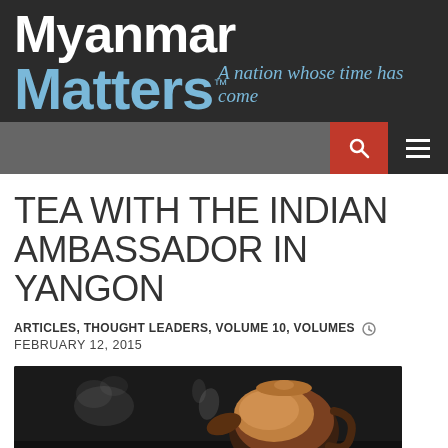Myanmar Matters™ — A nation whose time has come
TEA WITH THE INDIAN AMBASSADOR IN YANGON
ARTICLES, THOUGHT LEADERS, VOLUME 10, VOLUMES  FEBRUARY 12, 2015
[Figure (photo): Dark atmospheric photo of a clay tea pot with steam rising, dark background]